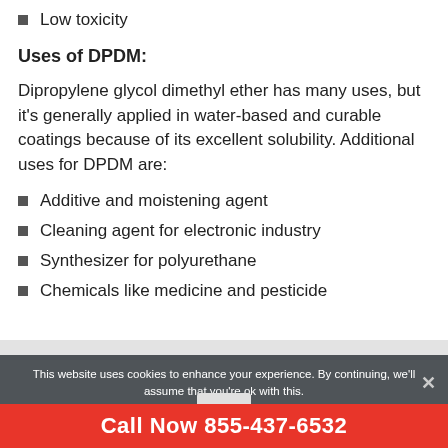Low toxicity
Uses of DPDM:
Dipropylene glycol dimethyl ether has many uses, but it's generally applied in water-based and curable coatings because of its excellent solubility. Additional uses for DPDM are:
Additive and moistening agent
Cleaning agent for electronic industry
Synthesizer for polyurethane
Chemicals like medicine and pesticide
This website uses cookies to enhance your experience. By continuing, we'll assume that you're ok with this.
Call Now 855-437-6532